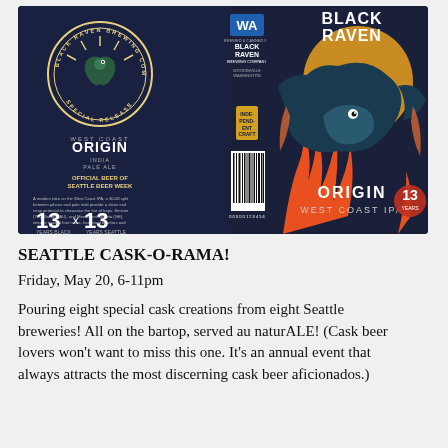[Figure (photo): Black Raven Brewing Company Special Release beer can label for 'Origin West Coast IPA'. Dark navy background with illustration of a raven surrounded by flames and a yellow/orange sun. Left side shows circular Black Raven Brewing Company logo, text reading 'WEST COAST ORIGIN INDIA PALE ALE', 'OFFICIAL BEER OF SEATTLE BEER WEEK', description text, '13 x 13 YEARS BLACK RAVEN x YEARS SEATTLE BEER WEEK'. Right side shows large raven bird artwork in flames, text 'BLACK RAVEN' and 'ORIGIN WEST COAST IPA'. Center strip has barcode, WA state logo, Black Raven Brewing Company address info, Independent Craft logo.]
SEATTLE CASK-O-RAMA!
Friday, May 20, 6-11pm
Pouring eight special cask creations from eight Seattle breweries! All on the bartop, served au naturALE! (Cask beer lovers won't want to miss this one. It's an annual event that always attracts the most discerning cask beer aficionados.)